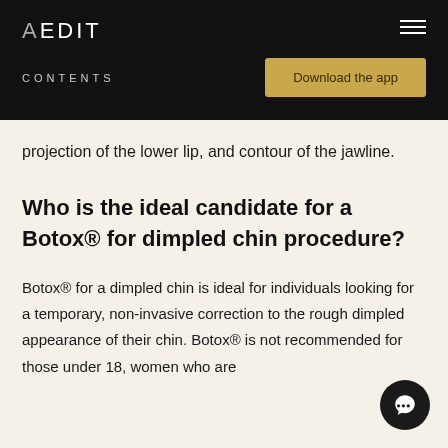AEDIT
CONTENTS
Download the app
projection of the lower lip, and contour of the jawline.
Who is the ideal candidate for a Botox® for dimpled chin procedure?
Botox® for a dimpled chin is ideal for individuals looking for a temporary, non-invasive correction to the rough dimpled appearance of their chin. Botox® is not recommended for those under 18, women who are